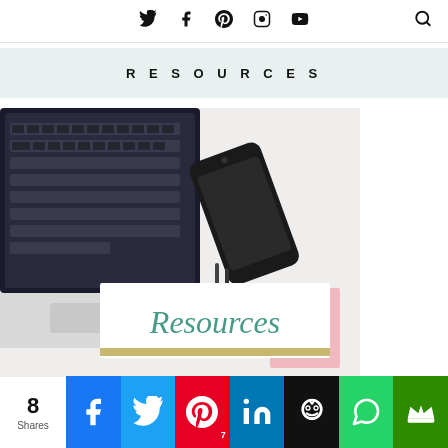social media icons: Twitter, Facebook, Pinterest, Instagram, YouTube, Search
RESOURCES
[Figure (photo): Flat lay photo showing a laptop keyboard, a black smartphone, pens, and a pink notepad on a white surface. In the center is a white sign with a gold frame reading 'Resources' in teal cursive script.]
8 Shares
[Figure (infographic): Social sharing bar with buttons for Facebook, Twitter, Pinterest (7), LinkedIn, Hootsuite/owl, WhatsApp, and a crown icon button]